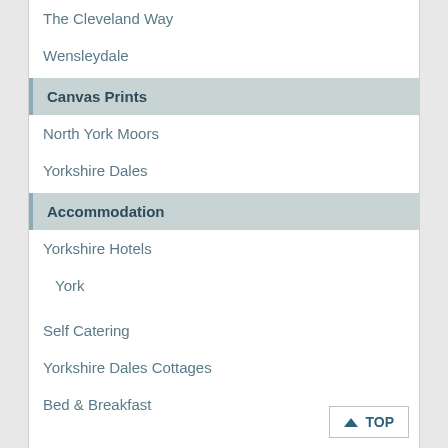The Cleveland Way
Wensleydale
Canvas Prints
North York Moors
Yorkshire Dales
Accommodation
Yorkshire Hotels
York
Self Catering
Yorkshire Dales Cottages
Bed & Breakfast